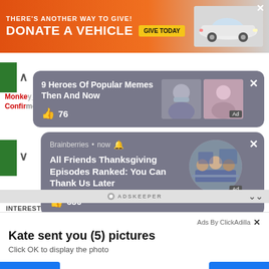[Figure (screenshot): Orange banner advertisement: THERE'S ANOTHER WAY TO GIVE! DONATE A VEHICLE with GIVE TODAY button and car image, with X close button]
[Figure (screenshot): First ad card on gray background: '9 Heroes Of Popular Memes Then And Now' with thumbs up 76, two thumbnail images, Ad label, and X button]
[Figure (screenshot): Second ad card: Brainberries now, 'All Friends Thanksgiving Episodes Ranked: You Can Thank Us Later', thumbs up 650, circular image of Friends cast, Ad label, X button]
INTERESTING FOR YOU
[Figure (photo): Two photos side by side showing people at weddings/events]
Ads By ClickAdilla
Kate sent you (5) pictures
Click OK to display the photo